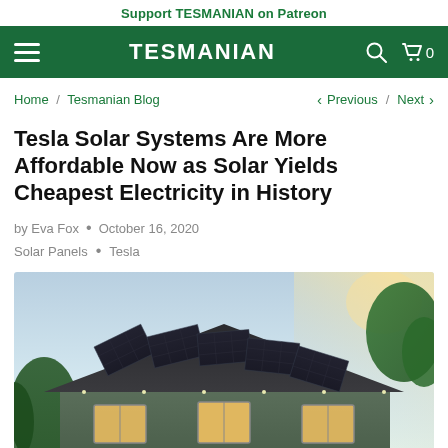Support TESMANIAN on Patreon
TESMANIAN
Home / Tesmanian Blog  < Previous / Next >
Tesla Solar Systems Are More Affordable Now as Solar Yields Cheapest Electricity in History
by Eva Fox  •  October 16, 2020
Solar Panels  •  Tesla
[Figure (photo): Photo of a house with Tesla solar panels on the roof, surrounded by trees, with sunlight in the background]